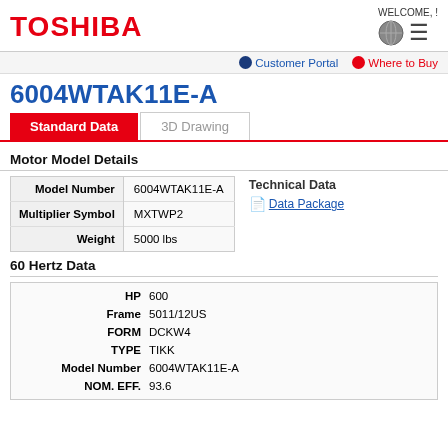TOSHIBA | WELCOME, !
Customer Portal | Where to Buy
6004WTAK11E-A
Motor Model Details
|  |  |
| --- | --- |
| Model Number | 6004WTAK11E-A |
| Multiplier Symbol | MXTWP2 |
| Weight | 5000 lbs |
Technical Data
Data Package
60 Hertz Data
|  |  |
| --- | --- |
| HP | 600 |
| Frame | 5011/12US |
| FORM | DCKW4 |
| TYPE | TIKK |
| Model Number | 6004WTAK11E-A |
| NOM. EFF. | 93.6 |